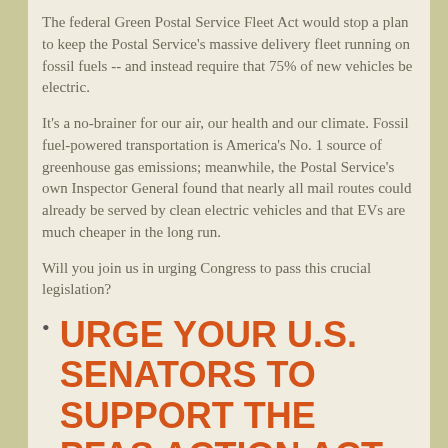The federal Green Postal Service Fleet Act would stop a plan to keep the Postal Service's massive delivery fleet running on fossil fuels -- and instead require that 75% of new vehicles be electric.
It's a no-brainer for our air, our health and our climate. Fossil fuel-powered transportation is America's No. 1 source of greenhouse gas emissions; meanwhile, the Postal Service's own Inspector General found that nearly all mail routes could already be served by clean electric vehicles and that EVs are much cheaper in the long run.
Will you join us in urging Congress to pass this crucial legislation?
URGE YOUR U.S. SENATORS TO SUPPORT THE PFAS ACTION ACT
Toxic chemicals called PFAS (per- and polyfluoroalkyl substances) have contaminated waterways across the country, endangering up